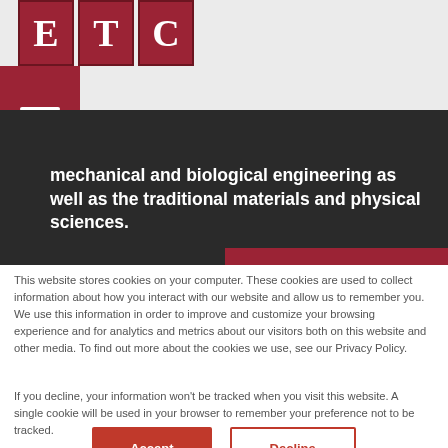[Figure (logo): ETC logo with three red squares each containing a serif letter E, T, C in white]
mechanical and biological engineering as well as the traditional materials and physical sciences.
This website stores cookies on your computer. These cookies are used to collect information about how you interact with our website and allow us to remember you. We use this information in order to improve and customize your browsing experience and for analytics and metrics about our visitors both on this website and other media. To find out more about the cookies we use, see our Privacy Policy.
If you decline, your information won’t be tracked when you visit this website. A single cookie will be used in your browser to remember your preference not to be tracked.